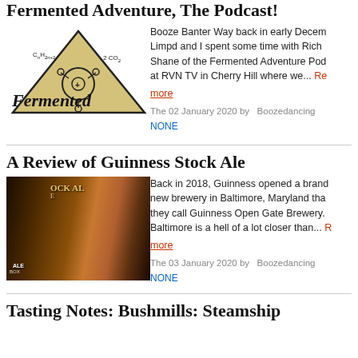Fermented Adventure, The Podcast!
[Figure (logo): Fermented Adventure podcast logo — triangular warning sign graphic with chemical formula text, below reads 'Fermented' in large stylized font and 'ADVENTURE' on a black banner]
Booze Banter Way back in early December Limpd and I spent some time with Rich Shane of the Fermented Adventure Pod at RVN TV in Cherry Hill where we... Read more
The 02 January 2020 by   Boozedancing
NONE
A Review of Guinness Stock Ale
[Figure (photo): Photo of Guinness Stock Ale bottle with OCK AL label visible, brown/amber color bottle]
Back in 2018, Guinness opened a brand new brewery in Baltimore, Maryland that they call Guinness Open Gate Brewery. Baltimore is a hell of a lot closer than... more
The 03 January 2020 by   Boozedancing
NONE
Tasting Notes: Bushmills: Steamship